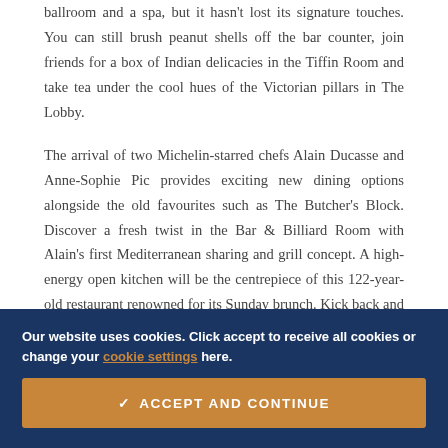ballroom and a spa, but it hasn't lost its signature touches. You can still brush peanut shells off the bar counter, join friends for a box of Indian delicacies in the Tiffin Room and take tea under the cool hues of the Victorian pillars in The Lobby.
The arrival of two Michelin-starred chefs Alain Ducasse and Anne-Sophie Pic provides exciting new dining options alongside the old favourites such as The Butcher's Block. Discover a fresh twist in the Bar & Billiard Room with Alain's first Mediterranean sharing and grill concept. A high-energy open kitchen will be the centrepiece of this 122-year-old restaurant renowned for its Sunday brunch. Kick back and
Our website uses cookies. Click accept to receive all cookies or change your cookie settings here.
✓ ACCEPT AND CONTINUE